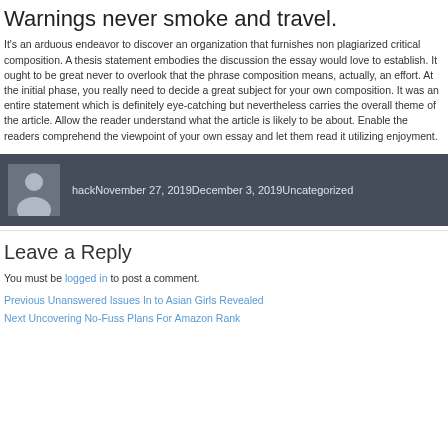Warnings never smoke and travel.
It's an arduous endeavor to discover an organization that furnishes non plagiarized critical composition. A thesis statement embodies the discussion the essay would love to establish. It ought to be great never to overlook that the phrase composition means, actually, an effort. At the initial phase, you really need to decide a great subject for your own composition. It was an entire statement which is definitely eye-catching but nevertheless carries the overall theme of the article. Allow the reader understand what the article is likely to be about. Enable the readers comprehend the viewpoint of your own essay and let them read it utilizing enjoyment.
hackNovember 27, 2019December 3, 2019Uncategorized
Leave a Reply
You must be logged in to post a comment.
Previous Unanswered Issues In to Asian Girls Revealed
Next Uncovering No-Fuss Plans For Amazon Rank